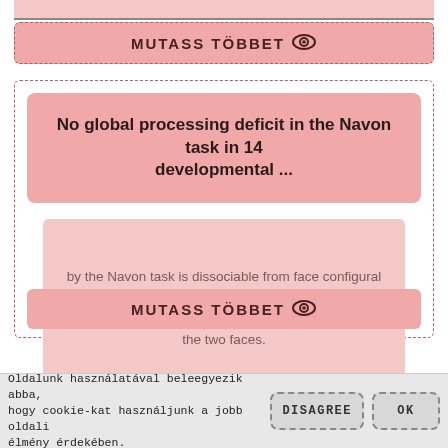[Figure (screenshot): Top portion of a card UI with pink background and dashed border, partially cut off at top]
MUTASS TÖBBET 👁
No global processing deficit in the Navon task in 14 developmental ...
by the Navon task is dissociable from face configural processing. ... for 500ms each, and they judged whether the two faces.
MUTASS TÖBBET 👁
Oldalunk használatával beleegyezik abba, hogy cookie-kat használjunk a jobb oldali élmény érdekében.
DISAGREE
OK